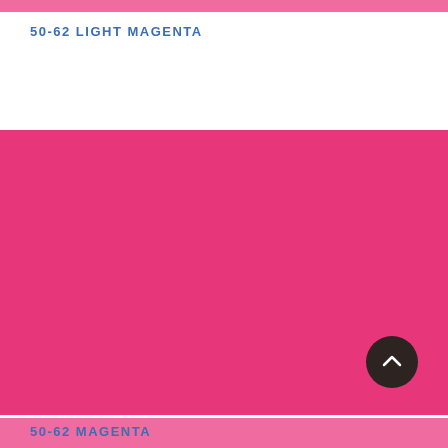50-62 LIGHT MAGENTA
[Figure (other): Large solid magenta/hot-pink color swatch block filling the middle portion of the page]
[Figure (other): Dark circular scroll-to-top button with upward chevron arrow, positioned at bottom-right of the magenta block]
50-62 MAGENTA